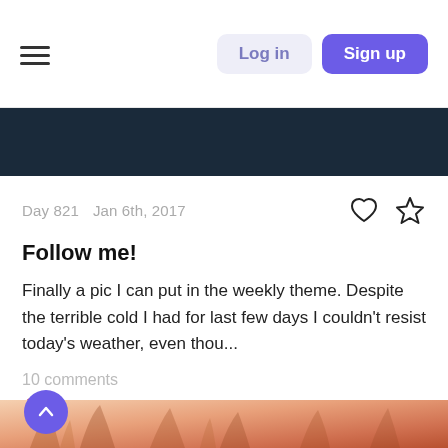Log in  Sign up
Day 821   Jan 6th, 2017
Follow me!
Finally a pic I can put in the weekly theme. Despite the terrible cold I had for last few days I couldn't resist today's weather, even thou...
10 comments
Ewa Kudlaty   Jan 11th, 2017
[Figure (photo): Close-up warm-toned photo of dried plant stems against a soft orange/red background]